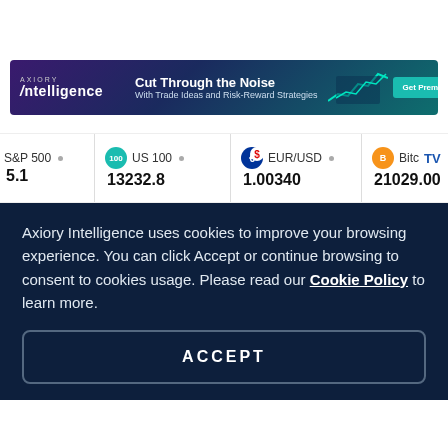[Figure (screenshot): Axiory Intelligence banner advertisement: dark purple/teal gradient background, logo on left reading 'AXIORY intelligence', headline 'Cut Through the Noise', subline 'With Trade Ideas and Risk-Reward Strategies', chart graphic, and 'Get Premium Account' teal button.]
S&P 500 • 5.1   US 100 • 13232.8   EUR/USD • 1.00340   Bitc... 21029.00
Axiory Intelligence uses cookies to improve your browsing experience. You can click Accept or continue browsing to consent to cookies usage. Please read our Cookie Policy to learn more.
ACCEPT